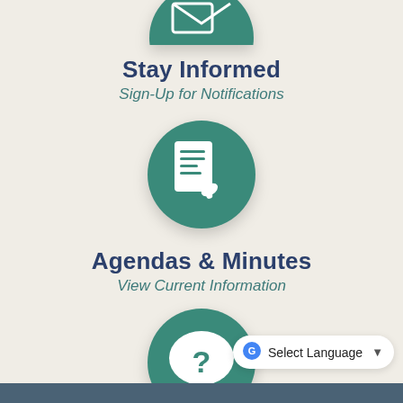[Figure (illustration): Partial green circle icon with envelope/notification symbol at top of page (cropped)]
Stay Informed
Sign-Up for Notifications
[Figure (illustration): Green circle icon with tablet/document and hand symbol]
Agendas & Minutes
View Current Information
[Figure (illustration): Green circle icon with speech bubble and question mark]
FAQs
We're Here to Help
Select Language